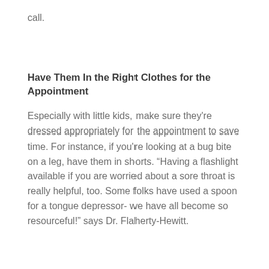call.
Have Them In the Right Clothes for the Appointment
Especially with little kids, make sure they're dressed appropriately for the appointment to save time. For instance, if you're looking at a bug bite on a leg, have them in shorts. “Having a flashlight available if you are worried about a sore throat is really helpful, too. Some folks have used a spoon for a tongue depressor- we have all become so resourceful!” says Dr. Flaherty-Hewitt.